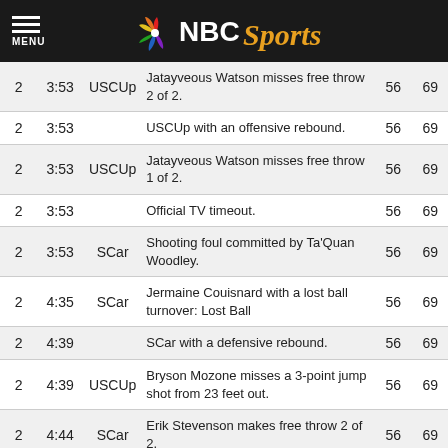NBC Sports
| Qtr | Time | Team | Description | Score1 | Score2 |
| --- | --- | --- | --- | --- | --- |
| 2 | 3:53 | USCUp | Jatayveous Watson misses free throw 2 of 2. | 56 | 69 |
| 2 | 3:53 |  | USCUp with an offensive rebound. | 56 | 69 |
| 2 | 3:53 | USCUp | Jatayveous Watson misses free throw 1 of 2. | 56 | 69 |
| 2 | 3:53 |  | Official TV timeout. | 56 | 69 |
| 2 | 3:53 | SCar | Shooting foul committed by Ta'Quan Woodley. | 56 | 69 |
| 2 | 4:35 | SCar | Jermaine Couisnard with a lost ball turnover: Lost Ball | 56 | 69 |
| 2 | 4:39 |  | SCar with a defensive rebound. | 56 | 69 |
| 2 | 4:39 | USCUp | Bryson Mozone misses a 3-point jump shot from 23 feet out. | 56 | 69 |
| 2 | 4:44 | SCar | Erik Stevenson makes free throw 2 of 2. | 56 | 69 |
| 2 | 4:44 | SCar | Erik Stevenson makes free throw 1 of 2. | 56 | 68 |